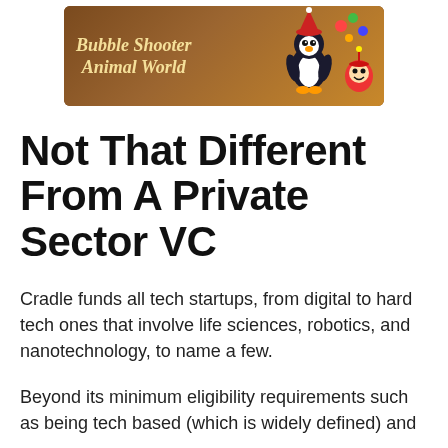[Figure (illustration): Bubble Shooter Animal World game advertisement banner with brown wooden background, featuring cartoon penguin and other animal characters on the right side, with yellow italic text reading 'Bubble Shooter Animal World']
Not That Different From A Private Sector VC
Cradle funds all tech startups, from digital to hard tech ones that involve life sciences, robotics, and nanotechnology, to name a few.
Beyond its minimum eligibility requirements such as being tech based (which is widely defined) and